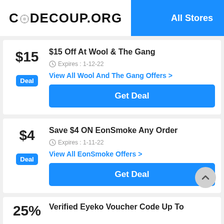CODECOUP.ORG — All Stores
$15 Off At Wool & The Gang — Expires: 1-12-22 — Deal — View All Wool And The Gang Offers — Get Deal
Save $4 ON EonSmoke Any Order — Expires: 1-11-22 — Deal — View All EonSmoke Offers — Get Deal
Verified Eyeko Voucher Code Up To — 25%